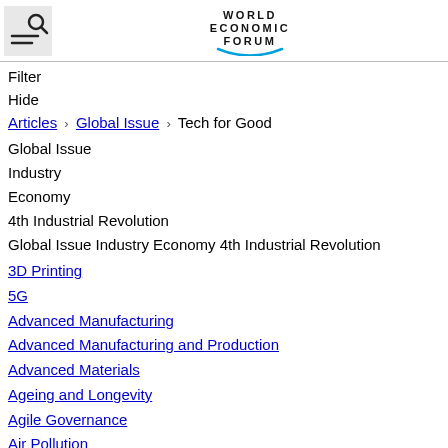[Figure (logo): World Economic Forum logo with hamburger/search menu icon on the left]
Filter
Hide
Articles > Global Issue > Tech for Good
Global Issue
Industry
Economy
4th Industrial Revolution
Global Issue Industry Economy 4th Industrial Revolution
3D Printing
5G
Advanced Manufacturing
Advanced Manufacturing and Production
Advanced Materials
Ageing and Longevity
Agile Governance
Air Pollution
Antarctica
Arctic
Artificial Intelligence